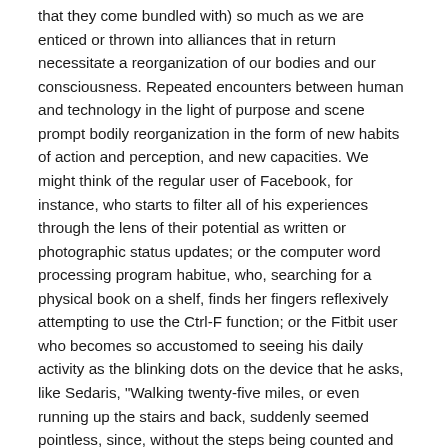that they come bundled with) so much as we are enticed or thrown into alliances that in return necessitate a reorganization of our bodies and our consciousness. Repeated encounters between human and technology in the light of purpose and scene prompt bodily reorganization in the form of new habits of action and perception, and new capacities. We might think of the regular user of Facebook, for instance, who starts to filter all of his experiences through the lens of their potential as written or photographic status updates; or the computer word processing program habitue, who, searching for a physical book on a shelf, finds her fingers reflexively attempting to use the Ctrl-F function; or the Fitbit user who becomes so accustomed to seeing his daily activity as the blinking dots on the device that he asks, like Sedaris, "Walking twenty-five miles, or even running up the stairs and back, suddenly seemed pointless, since, without the steps being counted and registered, what use were they?" This is more than human "use" of technology - in essence, through repeated interaction with the technology, a new virtual body has developed. And it is this virtual body, I want to suggest, that is the mechanism of the compulsion that Burke attributes to technology.
While Burke agrees with Ong's description of the mechanisms by which technology, in shaping humans, also serves as a compelling force, he still walks away from the exchange with a fatalistic view of